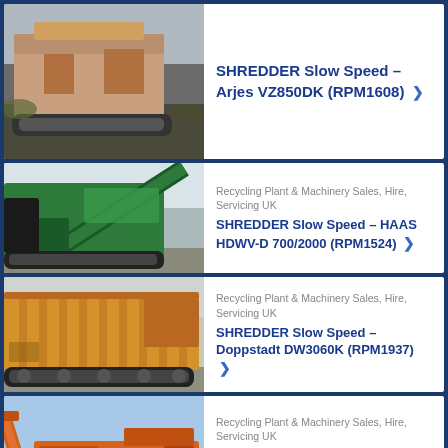[Figure (photo): Industrial slow-speed shredder machine on tracks, gray/brown, surrounded by waste material]
SHREDDER Slow Speed - Arjes VZ850DK (RPM1608)
[Figure (photo): Green industrial shredder/screener machine on tracks]
Recycling Plant & Machinery Sales, Hire, Servicing UK
SHREDDER Slow Speed - HAAS HDWV-D 700/2000 (RPM1524)
[Figure (photo): Large yellow industrial slow-speed shredder machine on tracks]
Recycling Plant & Machinery Sales, Hire, Servicing UK
SHREDDER Slow Speed - Doppstadt DW3060K (RPM1937)
[Figure (photo): Orange industrial shredder machine with conveyor arm extended, blue sky background]
Recycling Plant & Machinery Sales, Hire, Servicing UK
SHREDDER Slow Speed - Arjes VZ850DK (RPM1918)